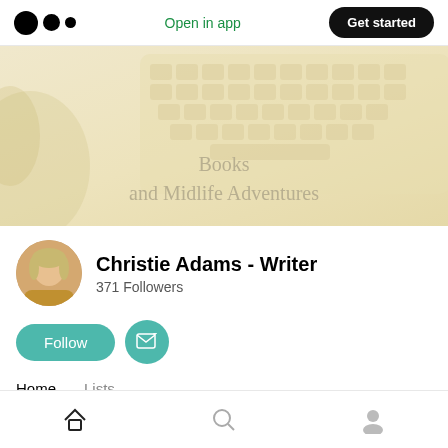Open in app  Get started
[Figure (screenshot): Medium app banner with cream/beige background showing a keyboard and the text 'Books and Midlife Adventures']
Christie Adams - Writer
371 Followers
Follow  [email subscribe button]
Home  Lists
Home  Search  Profile icons